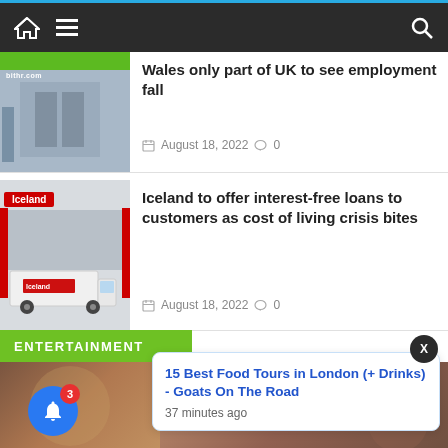Navigation bar with home, menu, and search icons
[Figure (screenshot): Thumbnail of a store entrance with green banner]
Wales only part of UK to see employment fall
August 18, 2022  0
[Figure (screenshot): Iceland supermarket exterior with white delivery van and red Iceland branding]
Iceland to offer interest-free loans to customers as cost of living crisis bites
August 18, 2022  0
ENTERTAINMENT
[Figure (screenshot): Bottom strip with entertainment content images]
15 Best Food Tours in London (+ Drinks) - Goats On The Road
37 minutes ago